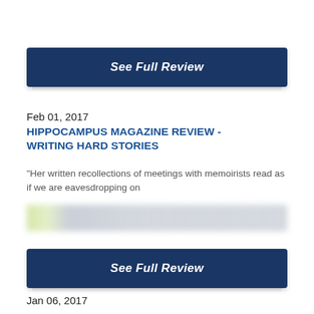See Full Review
Feb 01, 2017
HIPPOCAMPUS MAGAZINE REVIEW - WRITING HARD STORIES
"Her written recollections of meetings with memoirists read as if we are eavesdropping on
[Figure (other): Blurred/redacted text region with greenish and grayish tones]
See Full Review
Jan 06, 2017